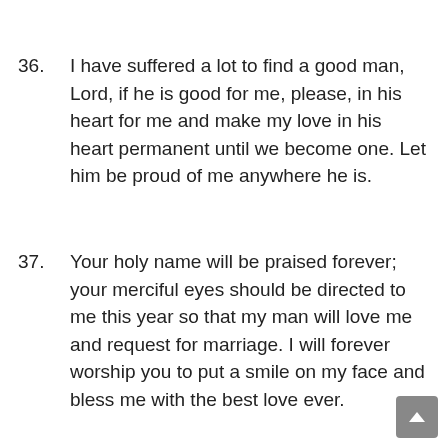36. I have suffered a lot to find a good man, Lord, if he is good for me, please, in his heart for me and make my love in his heart permanent until we become one. Let him be proud of me anywhere he is.
37. Your holy name will be praised forever; your merciful eyes should be directed to me this year so that my man will love me and request for marriage. I will forever worship you to put a smile on my face and bless me with the best love ever.